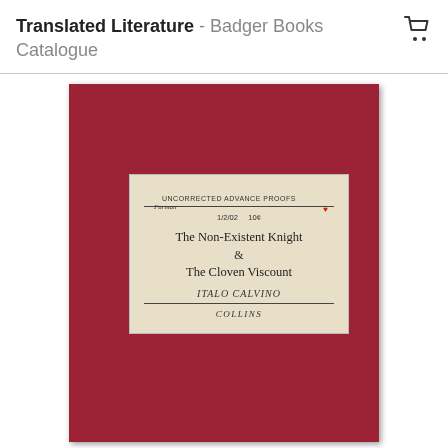Translated Literature - Badger Books Catalogue
[Figure (photo): Photograph of a red uncorrected advance proof book cover with a pasted label reading 'UNCORRECTED ADVANCE PROOFS, The Non-Existent Knight & The Cloven Viscount, ITALO CALVINO, COLLINS'. Handwritten annotations at the top of the label.]